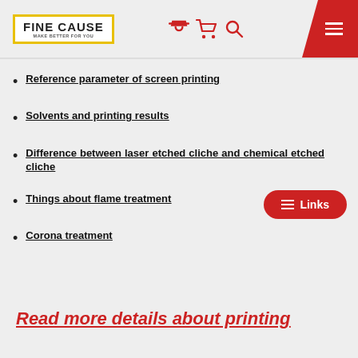FINE CAUSE - MAKE BETTER FOR YOU
Reference parameter of screen printing
Solvents and printing results
Difference between laser etched cliche and chemical etched cliche
Things about flame treatment
Corona treatment
Read more details about printing